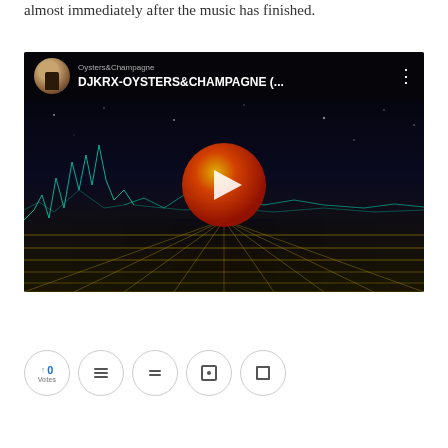almost immediately after the music has finished.
[Figure (screenshot): YouTube video embed showing 'DJKRX-OYSTERS&CHAMPAGNE (...' with a dark sci-fi retro background featuring teal wireframe mountains, a golden grid floor, and a large circular play button with red-to-yellow gradient. A channel avatar and title bar are visible at the top.]
[Figure (other): Social sharing buttons row showing: a likes/votes counter showing 0, and four additional circular icon buttons for sharing actions.]